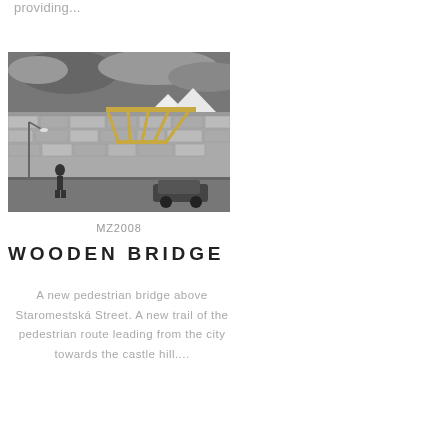providing...
[Figure (photo): Black and white photograph of a wooden pedestrian bridge structure under construction or newly built, with old stone walls and buildings in background and a person walking below]
MZ2008
WOODEN BRIDGE
A new pedestrian bridge above Staromestská Street. A new trail of the pedestrian route leading from the city towards the castle hill....